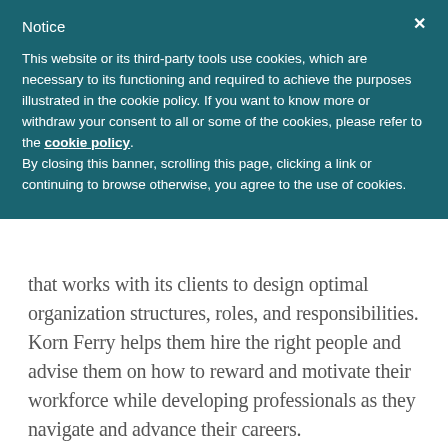Notice
This website or its third-party tools use cookies, which are necessary to its functioning and required to achieve the purposes illustrated in the cookie policy. If you want to know more or withdraw your consent to all or some of the cookies, please refer to the cookie policy.
By closing this banner, scrolling this page, clicking a link or continuing to browse otherwise, you agree to the use of cookies.
that works with its clients to design optimal organization structures, roles, and responsibilities. Korn Ferry helps them hire the right people and advise them on how to reward and motivate their workforce while developing professionals as they navigate and advance their careers.
Its 10,000 experts in more than 50 countries delive